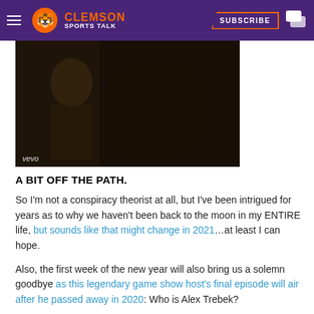CLEMSON SPORTS TALK — SUBSCRIBE
[Figure (screenshot): YouTube video thumbnail showing a dark music video still with a red YouTube play button and 'vevo' watermark in the lower left]
A BIT OFF THE PATH.
So I'm not a conspiracy theorist at all, but I've been intrigued for years as to why we haven't been back to the moon in my ENTIRE life, but sounds like that might change in 2021…at least I can hope.
Also, the first week of the new year will also bring us a solemn goodbye as this legendary game show host's final episode will air after he passed away in 2020: Who is Alex Trebek?